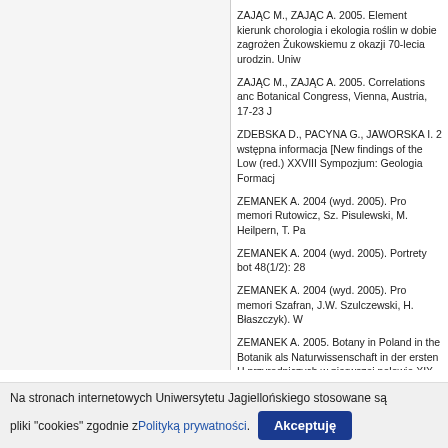ZAJĄC M., ZAJĄC A. 2005. Element kierunk chorologia i ekologia roślin w dobie zagrożen Żukowskiemu z okazji 70-lecia urodzin. Uniw
ZAJĄC M., ZAJĄC A. 2005. Correlations anc Botanical Congress, Vienna, Austria, 17-23 J
ZDEBSKA D., PACYNA G., JAWORSKA I. 2 wstępna informacja [New findings of the Low (red.) XXVIII Sympozjum: Geologia Formacj
ZEMANEK A. 2004 (wyd. 2005). Pro memori Rutowicz, Sz. Pisulewski, M. Heilpern, T. Pa
ZEMANEK A. 2004 (wyd. 2005). Portrety bot 48(1/2): 28
ZEMANEK A. 2004 (wyd. 2005). Pro memori Szafran, J.W. Szulczewski, H. Błaszczyk). W
ZEMANEK A. 2005. Botany in Poland in the Botanik als Naturwissenschaft in der ersten H przyrodniczych w pierwszej połowie XIX wiek Akademie Der Naturforscher Leopoldina, p.
ZEMANEK A. 2005. Interdyscyplinarne symp Mater 76-77: 79-80
ZEMANEK A., ZEMANEK B. 2005. Ilustracja kolekcji Libri picturati A18-30. W: Przvroda-N
Na stronach internetowych Uniwersytetu Jagiellońskiego stosowane są pliki "cookies" zgodnie z Polityką prywatności.